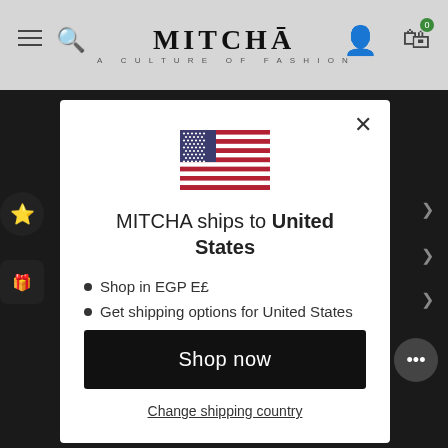MITCHA — A CULTURE OF FASHION
[Figure (screenshot): US flag emoji/icon centered in modal]
MITCHA ships to United States
Shop in EGP E£
Get shipping options for United States
Shop now
Change shipping country
01 21:32:33 DAYS HOURS MINUTES SECONDS